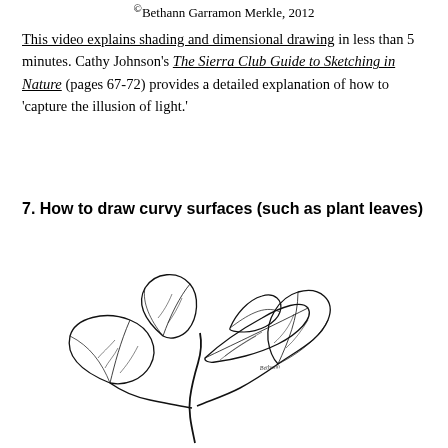© Bethann Garramon Merkle, 2012
This video explains shading and dimensional drawing in less than 5 minutes. Cathy Johnson's The Sierra Club Guide to Sketching in Nature (pages 67-72) provides a detailed explanation of how to 'capture the illusion of light.'
7. How to draw curvy surfaces (such as plant leaves)
[Figure (illustration): A detailed line drawing of a plant with multiple large leaves arranged around a central stem. The leaves show curvy surfaces with veins and shading lines. The illustration is signed by the artist.]